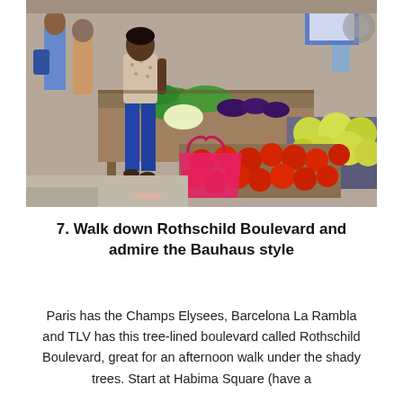[Figure (photo): A busy outdoor market stall with vendors and shoppers. A person in blue jeans and patterned shirt stands near a stall displaying vegetables including eggplant, leafy greens, and tomatoes. A pink shopping bag sits on the ground. Another stall on the right displays large green and yellow citrus fruits. The scene is a vibrant produce market.]
7. Walk down Rothschild Boulevard and admire the Bauhaus style
Paris has the Champs Elysees, Barcelona La Rambla and TLV has this tree-lined boulevard called Rothschild Boulevard, great for an afternoon walk under the shady trees. Start at Habima Square (have a